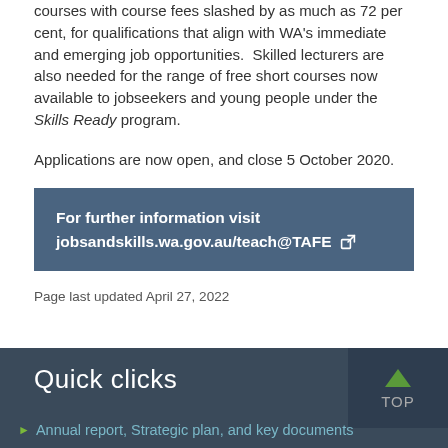courses with course fees slashed by as much as 72 per cent, for qualifications that align with WA's immediate and emerging job opportunities.  Skilled lecturers are also needed for the range of free short courses now available to jobseekers and young people under the Skills Ready program.
Applications are now open, and close 5 October 2020.
For further information visit jobsandskills.wa.gov.au/teach@TAFE
Page last updated April 27, 2022
Quick clicks
Annual report, Strategic plan, and key documents